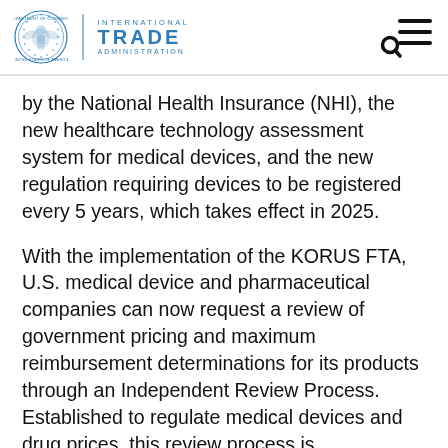International Trade Administration
by the National Health Insurance (NHI), the new healthcare technology assessment system for medical devices, and the new regulation requiring devices to be registered every 5 years, which takes effect in 2025.
With the implementation of the KORUS FTA, U.S. medical device and pharmaceutical companies can now request a review of government pricing and maximum reimbursement determinations for its products through an Independent Review Process. Established to regulate medical devices and drug prices, this review process is independent of the Ministry of Health and Welfare (MoHW) and the National Health Insurance Service (NHIS)...